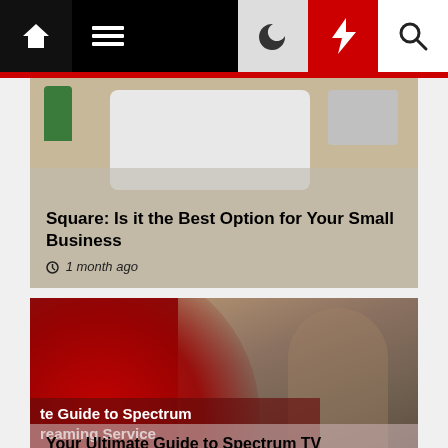Navigation bar with home, menu, moon, bolt, and search icons
[Figure (screenshot): Article card: Square: Is it the Best Option for Your Small Business, 1 month ago]
Square: Is it the Best Option for Your Small Business
1 month ago
[Figure (photo): Article card image: man with glasses working on laptop in a creative office with red branded overlay]
Your Ultimate Guide to Spectrum TV Streaming Service
6 months ago